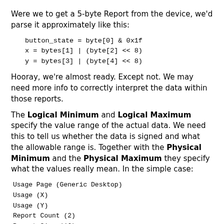Were we to get a 5-byte Report from the device, we'd parse it approximately like this:
button_state = byte[0] & 0x1f
x = bytes[1] | (byte[2] << 8)
y = bytes[3] | (byte[4] << 8)
Hooray, we're almost ready. Except not. We may need more info to correctly interpret the data within those reports.
The Logical Minimum and Logical Maximum specify the value range of the actual data. We need this to tell us whether the data is signed and what the allowable range is. Together with the Physical Minimum and the Physical Maximum they specify what the values really mean. In the simple case:
Usage Page (Generic Desktop)
Usage (X)
Usage (Y)
Report Count (2)
Report Size (16)
Logical Minimum (-32767)
Logical Maximum (32767)